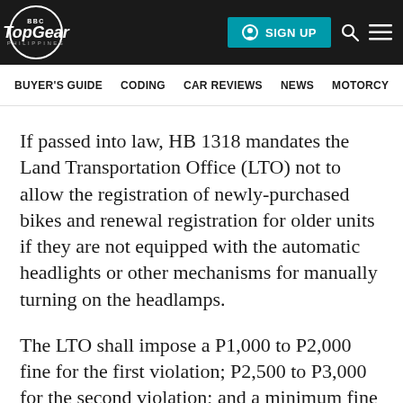Top Gear Philippines — SIGN UP | BUYER'S GUIDE | CODING | CAR REVIEWS | NEWS | MOTORCY...
If passed into law, HB 1318 mandates the Land Transportation Office (LTO) not to allow the registration of newly-purchased bikes and renewal registration for older units if they are not equipped with the automatic headlights or other mechanisms for manually turning on the headlamps.
The LTO shall impose a P1,000 to P2,000 fine for the first violation; P2,500 to P3,000 for the second violation; and a minimum fine of...